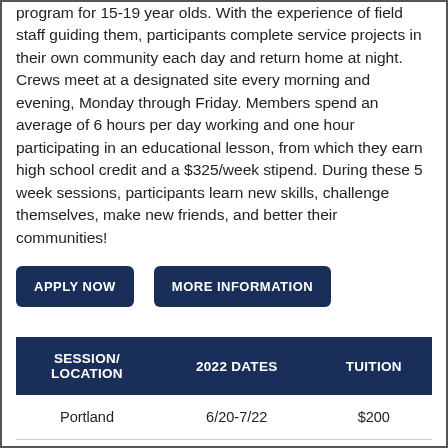program for 15-19 year olds. With the experience of field staff guiding them, participants complete service projects in their own community each day and return home at night. Crews meet at a designated site every morning and evening, Monday through Friday. Members spend an average of 6 hours per day working and one hour participating in an educational lesson, from which they earn high school credit and a $325/week stipend. During these 5 week sessions, participants learn new skills, challenge themselves, make new friends, and better their communities!
APPLY NOW
MORE INFORMATION
| SESSION/ LOCATION | 2022 DATES | TUITION |
| --- | --- | --- |
| Portland | 6/20-7/22 | $200 |
| Eugene | 6/20-7/22 | $200 |
| Springfield | 6/20-7/22 | $200 |